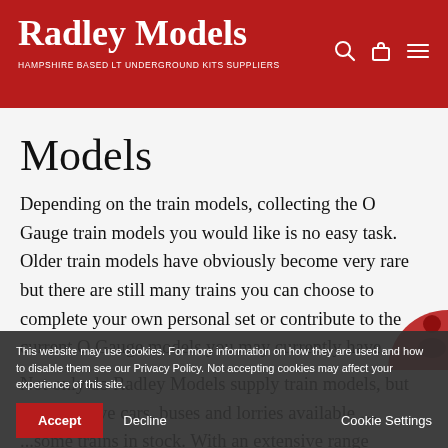Radley Models — HAMPSHIRE BASED LT UNDERGROUND KITS SUPPLIERS
Models
Depending on the train models, collecting the O Gauge train models you would like is no easy task. Older train models have obviously become very rare but there are still many trains you can choose to complete your own personal set or contribute to the current O Gauge models you may currently have.
Not only do Radley Models supply train models, but we also have cars, buses and lorries available... ...some trains in stock. With an extensive range of models available in the...
This website may use cookies. For more information on how they are used and how to disable them see our Privacy Policy. Not accepting cookies may affect your experience of this site.